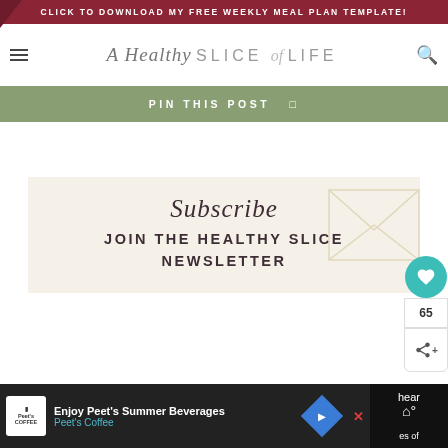CLICK TO DOWNLOAD MY FREE WEEKLY MEAL PLAN TEMPLATE!
A Healthy SLICE of LIFE
PIN THIS POST
[Figure (infographic): Subscribe card with script text reading 'Subscribe' and heading 'JOIN THE HEALTHY SLICE NEWSLETTER' on a cream background with envelope decoration]
[Figure (infographic): Ad banner: Enjoy Peet's Summer Beverages - Peet's Coffee, with blue arrow icon]
65